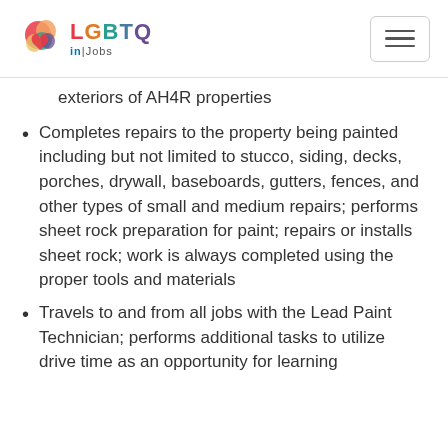LGBTQ inJobs logo and navigation menu
exteriors of AH4R properties
Completes repairs to the property being painted including but not limited to stucco, siding, decks, porches, drywall, baseboards, gutters, fences, and other types of small and medium repairs; performs sheet rock preparation for paint; repairs or installs sheet rock; work is always completed using the proper tools and materials
Travels to and from all jobs with the Lead Paint Technician; performs additional tasks to utilize drive time as an opportunity for learning